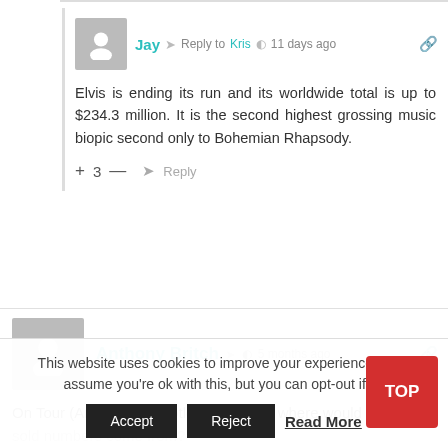Jay  Reply to Kris  11 days ago
Elvis is ending its run and its worldwide total is up to $234.3 million. It is the second highest grossing music biopic second only to Bohemian Rhapsody.
+ 3 —  Reply
Anthony Britch  5 months ago
On Tour (Amiga) is a bootleg recording. where would the total sold numbers come from?
This website uses cookies to improve your experience. We'll assume you're ok with this, but you can opt-out if you